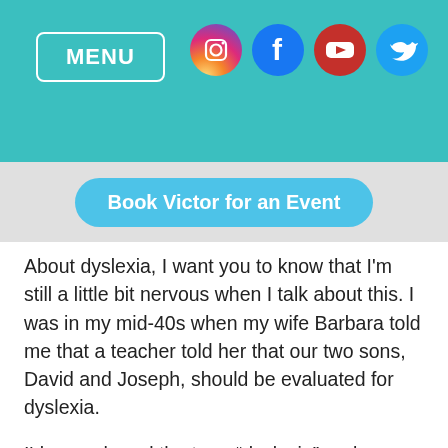MENU
Book Victor for an Event
About dyslexia, I want you to know that I'm still a little bit nervous when I talk about this. I was in my mid-40s when my wife Barbara told me that a teacher told her that our two sons, David and Joseph, should be evaluated for dyslexia.
I'd never heard the term “dyslexia” and Barbara told me that this teacher explained to her that the best place to take our sons was to Long Beach, that the woman who ran the place was